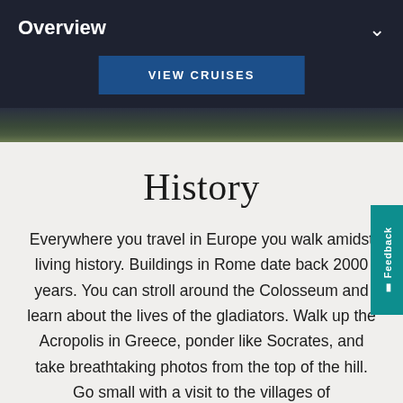Overview
VIEW CRUISES
[Figure (photo): Dark landscape/skyline image strip showing trees and buildings at dusk]
History
Everywhere you travel in Europe you walk amidst living history. Buildings in Rome date back 2000 years. You can stroll around the Colosseum and learn about the lives of the gladiators. Walk up the Acropolis in Greece, ponder like Socrates, and take breathtaking photos from the top of the hill. Go small with a visit to the villages of